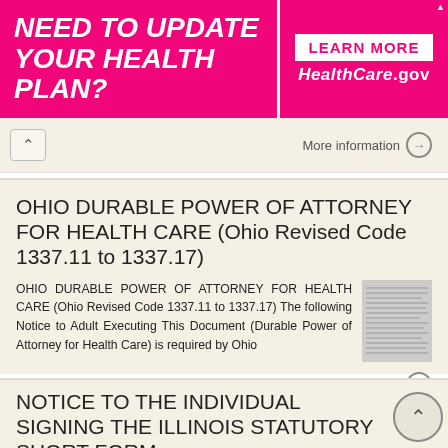[Figure (infographic): Advertisement banner: pink background with white bold italic text 'NEED TO UPDATE YOUR HEALTH PLAN?' on the left; white box with 'LEARN MORE' in pink and 'HealthCare.gov' in white on the right.]
More information →
OHIO DURABLE POWER OF ATTORNEY FOR HEALTH CARE (Ohio Revised Code 1337.11 to 1337.17)
OHIO DURABLE POWER OF ATTORNEY FOR HEALTH CARE (Ohio Revised Code 1337.11 to 1337.17) The following Notice to Adult Executing This Document (Durable Power of Attorney for Health Care) is required by Ohio
More information →
NOTICE TO THE INDIVIDUAL SIGNING THE ILLINOIS STATUTORY SHORT FORM